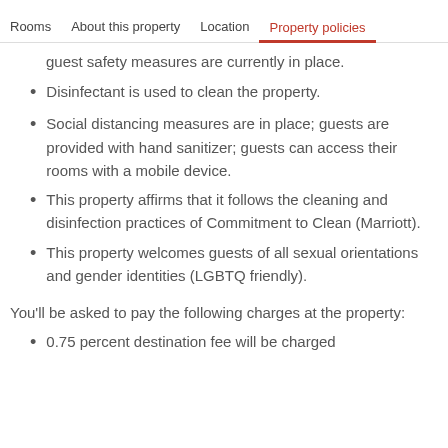Rooms   About this property   Location   Property policies
guest safety measures are currently in place.
Disinfectant is used to clean the property.
Social distancing measures are in place; guests are provided with hand sanitizer; guests can access their rooms with a mobile device.
This property affirms that it follows the cleaning and disinfection practices of Commitment to Clean (Marriott).
This property welcomes guests of all sexual orientations and gender identities (LGBTQ friendly).
You'll be asked to pay the following charges at the property:
0.75 percent destination fee will be charged